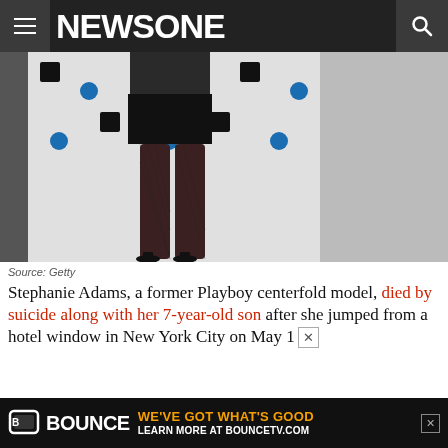NEWSONE
[Figure (photo): Cropped photo of a woman's legs in fishnet stockings and high heels, standing in front of a Playboy and Corona Extra branded step-and-repeat banner backdrop.]
Source: Getty
Stephanie Adams, a former Playboy centerfold model, died by suicide along with her 7-year-old son after she jumped from a hotel window in New York City on May 1
[Figure (other): Bounce TV advertisement banner: BOUNCE WE'VE GOT WHAT'S GOOD / LEARN MORE AT BOUNCETV.COM]